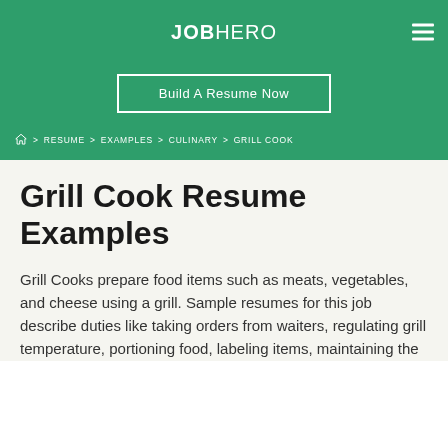JOBHERO
Build A Resume Now
Home > RESUME > EXAMPLES > CULINARY > GRILL COOK
Grill Cook Resume Examples
Grill Cooks prepare food items such as meats, vegetables, and cheese using a grill. Sample resumes for this job describe duties like taking orders from waiters, regulating grill temperature, portioning food, labeling items, maintaining the